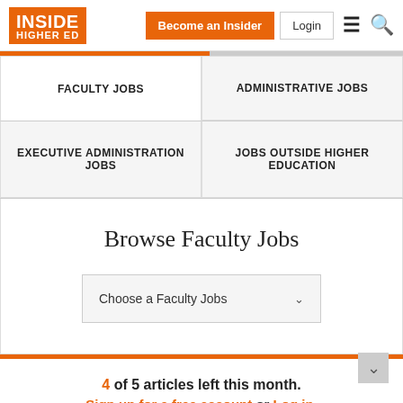INSIDE HIGHER ED — Become an Insider | Login
| FACULTY JOBS | ADMINISTRATIVE JOBS |
| --- | --- |
| EXECUTIVE ADMINISTRATION JOBS | JOBS OUTSIDE HIGHER EDUCATION |
Browse Faculty Jobs
Choose a Faculty Jobs
4 of 5 articles left this month. Sign up for a free account or Log in.